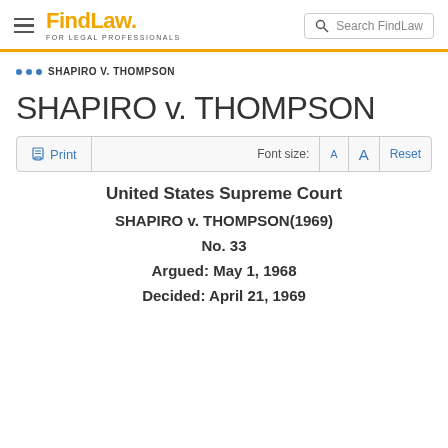FindLaw FOR LEGAL PROFESSIONALS | Search FindLaw
... SHAPIRO V. THOMPSON
SHAPIRO v. THOMPSON
Print | Font size: A A Reset
United States Supreme Court
SHAPIRO v. THOMPSON(1969)
No. 33
Argued: May 1, 1968
Decided: April 21, 1969